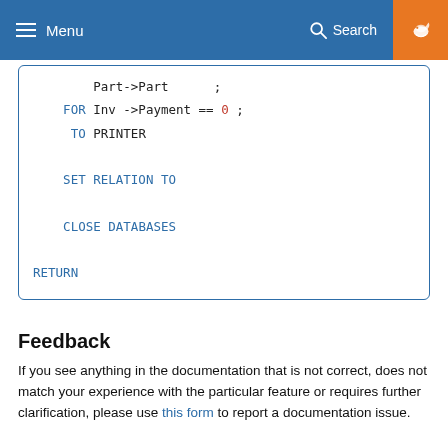Menu | Search
Part->Part      ;
    FOR Inv ->Payment == 0 ;
     TO PRINTER

    SET RELATION TO

    CLOSE DATABASES

RETURN
Feedback
If you see anything in the documentation that is not correct, does not match your experience with the particular feature or requires further clarification, please use this form to report a documentation issue.